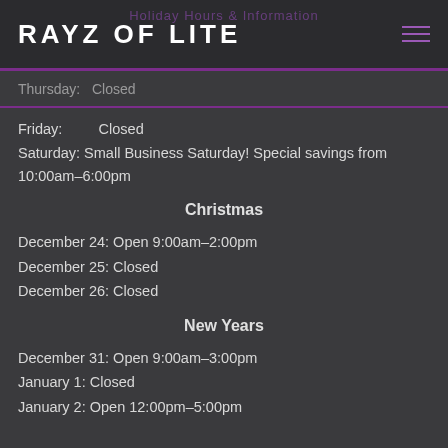RAYZ OF LITE
Thursday:   Closed
Friday:         Closed
Saturday: Small Business Saturday! Special savings from 10:00am–6:00pm
Christmas
December 24: Open 9:00am–2:00pm
December 25: Closed
December 26: Closed
New Years
December 31: Open 9:00am–3:00pm
January 1: Closed
January 2: Open 12:00pm–5:00pm